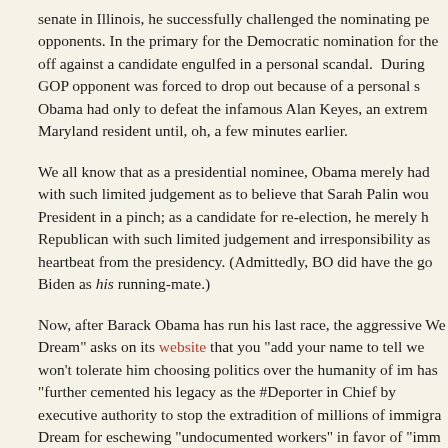senate in Illinois, he successfully challenged the nominating pe opponents. In the primary for the Democratic nomination for the off against a candidate engulfed in a personal scandal. During GOP opponent was forced to drop out because of a personal s Obama had only to defeat the infamous Alan Keyes, an extrem Maryland resident until, oh, a few minutes earlier.
We all know that as a presidential nominee, Obama merely had with such limited judgement as to believe that Sarah Palin wou President in a pinch; as a candidate for re-election, he merely h Republican with such limited judgement and irresponsibility as heartbeat from the presidency. (Admittedly, BO did have the go Biden as his running-mate.)
Now, after Barack Obama has run his last race, the aggressive We Dream" asks on its website that you "add your name to tell we won't tolerate him choosing politics over the humanity of im has "further cemented his legacy as the #Deporter in Chief by executive authority to stop the extradition of millions of immigra Dream for eschewing "undocumented workers" in favor of "imm failing to note no legal immigrant ever is deported.)